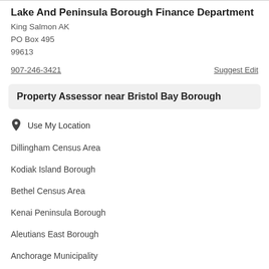Lake And Peninsula Borough Finance Department
King Salmon AK
PO Box 495
99613
907-246-3421
Suggest Edit
Property Assessor near Bristol Bay Borough
Use My Location
Dillingham Census Area
Kodiak Island Borough
Bethel Census Area
Kenai Peninsula Borough
Aleutians East Borough
Anchorage Municipality